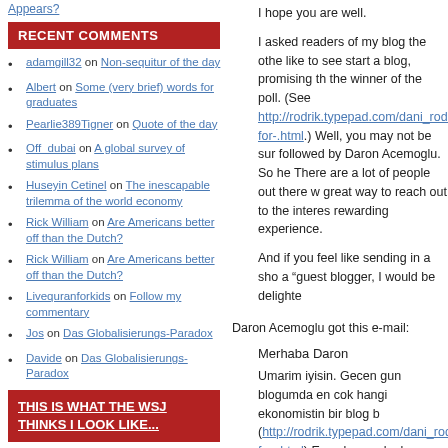Appears?
RECENT COMMENTS
adamgill32 on Non-sequitur of the day
Albert on Some (very brief) words for graduates
Pearlie389Tigner on Quote of the day
Off_dubai on A global survey of stimulus plans
Huseyin Cetinel on The inescapable trilemma of the world economy
Rick William on Are Americans better off than the Dutch?
Rick William on Are Americans better off than the Dutch?
Livequranforkids on Follow my commentary
Jos on Das Globalisierungs-Paradox
Davide on Das Globalisierungs-Paradox
THIS IS WHAT THE WSJ THINKS I LOOK LIKE...
I hope you are well.
I asked readers of my blog the othe like to see start a blog, promising th the winner of the poll. (See http://rodrik.typepad.com/dani_rodr for-.html.) Well, you may not be sur followed by Daron Acemoglu. So he There are a lot of people out there w great way to reach out to the interes rewarding experience.
And if you feel like sending in a sho a “guest blogger, I would be delighte
Daron Acemoglu got this e-mail:
Merhaba Daron
Umarim iyisin. Gecen gun blogumda en cok hangi ekonomistin bir blog b (http://rodrik.typepad.com/dani_rod for-.html) En cok oyu alanla sahsen calisacagima dair de soz verdim. Si ciktiniz. Ben de okuyucularin dilekle baslat! Senin dusuncelerini daha ya merakli kitlesi var. Onlara erisebilm